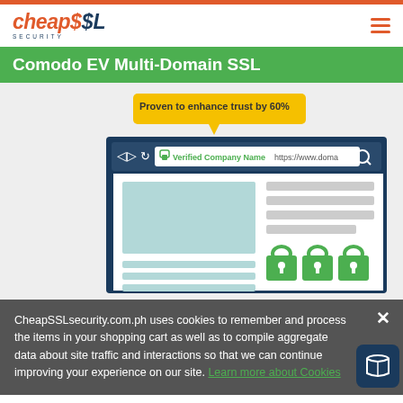cheap$$L SECURITY
Comodo EV Multi-Domain SSL
[Figure (illustration): Browser illustration showing EV SSL green address bar with 'Verified Company Name' and 'https://www.doma' URL, with a callout bubble saying 'Proven to enhance trust by 60%', and three green padlock icons at the bottom.]
CheapSSLsecurity.com.ph uses cookies to remember and process the items in your shopping cart as well as to compile aggregate data about site traffic and interactions so that we can continue improving your experience on our site. Learn more about Cookies